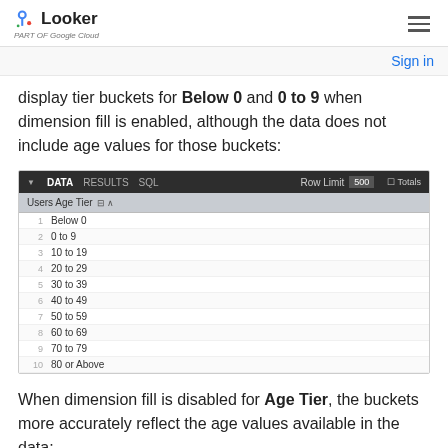Looker · part of Google Cloud
Sign in
display tier buckets for Below 0 and 0 to 9 when dimension fill is enabled, although the data does not include age values for those buckets:
[Figure (screenshot): Looker DATA/RESULTS/SQL toolbar with a table showing Users Age Tier values: 1 Below 0, 2 0 to 9, 3 10 to 19, 4 20 to 29, 5 30 to 39, 6 40 to 49, 7 50 to 59, 8 60 to 69, 9 70 to 79, 10 80 or Above]
When dimension fill is disabled for Age Tier, the buckets more accurately reflect the age values available in the data: